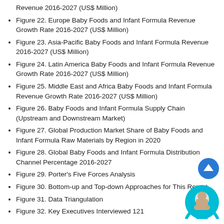Revenue 2016-2027 (US$ Million)
Figure 22. Europe Baby Foods and Infant Formula Revenue Growth Rate 2016-2027 (US$ Million)
Figure 23. Asia-Pacific Baby Foods and Infant Formula Revenue 2016-2027 (US$ Million)
Figure 24. Latin America Baby Foods and Infant Formula Revenue Growth Rate 2016-2027 (US$ Million)
Figure 25. Middle East and Africa Baby Foods and Infant Formula Revenue Growth Rate 2016-2027 (US$ Million)
Figure 26. Baby Foods and Infant Formula Supply Chain (Upstream and Downstream Market)
Figure 27. Global Production Market Share of Baby Foods and Infant Formula Raw Materials by Region in 2020
Figure 28. Global Baby Foods and Infant Formula Distribution Channel Percentage 2016-2027
Figure 29. Porter's Five Forces Analysis
Figure 30. Bottom-up and Top-down Approaches for This Report
Figure 31. Data Triangulation
Figure 32. Key Executives Interviewed 121